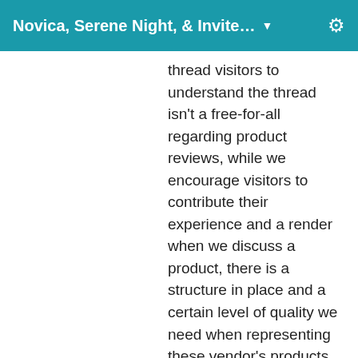Novica, Serene Night, & Invite...
thread visitors to understand the thread isn't a free-for-all regarding product reviews, while we encourage visitors to contribute their experience and a render when we discuss a product, there is a structure in place and a certain level of quality we need when representing these vendor's products. We wanted to explain why you would be seeing a lot of renders by specific individuals, and it is because they have been asked to do so. Their posts will be clearly identified.